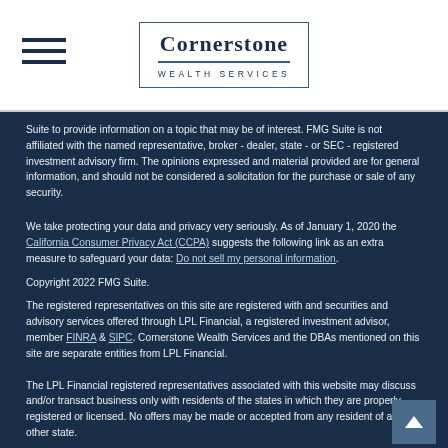[Figure (logo): Cornerstone Wealth Services logo with border and hamburger menu icon]
Suite to provide information on a topic that may be of interest. FMG Suite is not affiliated with the named representative, broker - dealer, state - or SEC - registered investment advisory firm. The opinions expressed and material provided are for general information, and should not be considered a solicitation for the purchase or sale of any security.
We take protecting your data and privacy very seriously. As of January 1, 2020 the California Consumer Privacy Act (CCPA) suggests the following link as an extra measure to safeguard your data: Do not sell my personal information.
Copyright 2022 FMG Suite.
The registered representatives on this site are registered with and securities and advisory services offered through LPL Financial, a registered investment advisor, member FINRA & SIPC. Cornerstone Wealth Services and the DBAs mentioned on this site are separate entities from LPL Financial.
The LPL Financial registered representatives associated with this website may discuss and/or transact business only with residents of the states in which they are properly registered or licensed. No offers may be made or accepted from any resident of any other state.
Teresa M. White, AAMS® | Domiciled: MO | CA Insurance #0I28574